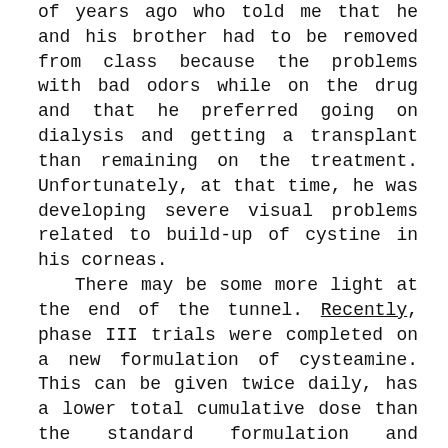of years ago who told me that he and his brother had to be removed from class because the problems with bad odors while on the drug and that he preferred going on dialysis and getting a transplant than remaining on the treatment. Unfortunately, at that time, he was developing severe visual problems related to build-up of cystine in his corneas. There may be some more light at the end of the tunnel. Recently, phase III trials were completed on a new formulation of cysteamine. This can be given twice daily, has a lower total cumulative dose than the standard formulation and appears to cause less halitosis and body odor. According to the company, 40 of 41 patients enrolled in the study decided to continue the drug after the phase III period had ended. This is certainly